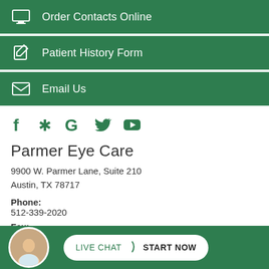Order Contacts Online
Patient History Form
Email Us
[Figure (infographic): Row of social media icons: Facebook, Yelp, Google, Twitter, YouTube — all in green]
Parmer Eye Care
9900 W. Parmer Lane, Suite 210
Austin, TX 78717
Phone:
512-339-2020
Fax:
[Figure (infographic): Live Chat Start Now button with avatar photo on green bottom bar]